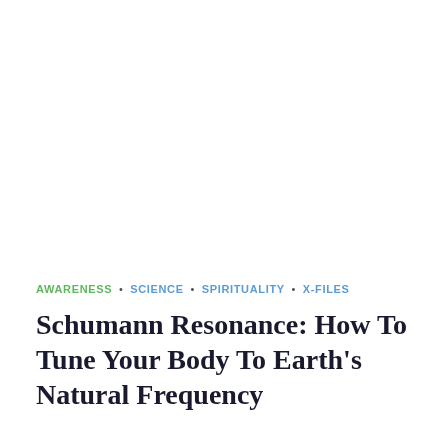AWARENESS • SCIENCE • SPIRITUALITY • X-FILES
Schumann Resonance: How To Tune Your Body To Earth's Natural Frequency